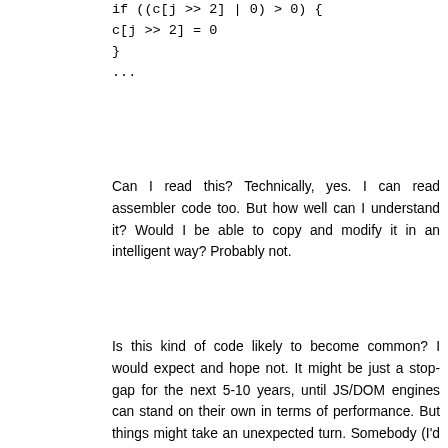if ((c[j >> 2] | 0) > 0) {
c[j >> 2] = 0
}
...
Can I read this? Technically, yes. I can read assembler code too. But how well can I understand it? Would I be able to copy and modify it in an intelligent way? Probably not.
Is this kind of code likely to become common? I would expect and hope not. It might be just a stop-gap for the next 5-10 years, until JS/DOM engines can stand on their own in terms of performance. But things might take an unexpected turn. Somebody (I'd imagine Adobe would be keen) might create a toolchain that makes it easy (if you have the money and the toolchain mindset) to create apps for this target. And then what? Black boxes that penetrate the web to an even greater extent than Flash managed, I'd imagine.